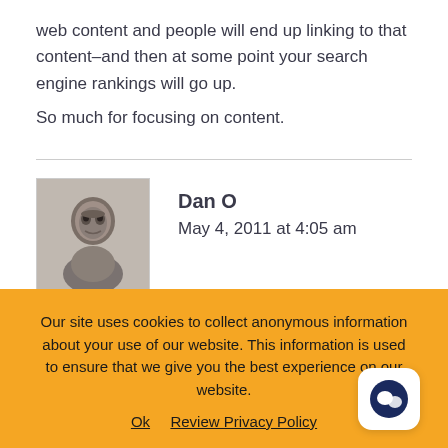web content and people will end up linking to that content–and then at some point your search engine rankings will go up.
So much for focusing on content.
Dan O
May 4, 2011 at 4:05 am
I couldn't agree more. Love the Yugo reference too. How is the searcher consuming information. Maybe they are
Our site uses cookies to collect anonymous information about your use of our website. This information is used to ensure that we give you the best experience on our website.
Ok  Review Privacy Policy